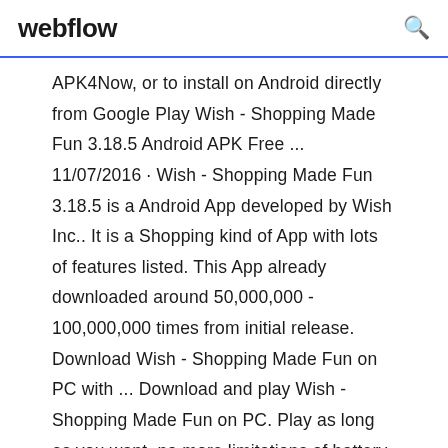webflow
APK4Now, or to install on Android directly from Google Play Wish - Shopping Made Fun 3.18.5 Android APK Free ... 11/07/2016 · Wish - Shopping Made Fun 3.18.5 is a Android App developed by Wish Inc.. It is a Shopping kind of App with lots of features listed. This App already downloaded around 50,000,000 - 100,000,000 times from initial release. Download Wish - Shopping Made Fun on PC with ... Download and play Wish - Shopping Made Fun on PC. Play as long as you want, no more limitations of battery, mobile data and disturbing calls. The brand new MEmu 7 is the best choice of playing Wish - Shopping Made Fun on PC. Prepared with our expertise, the